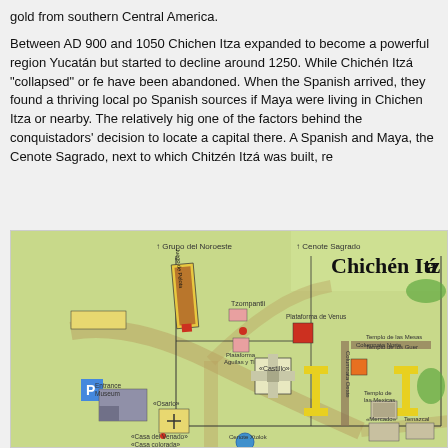gold from southern Central America.
Between AD 900 and 1050 Chichen Itza expanded to become a powerful region Yucatán but started to decline around 1250. While Chichén Itzá "collapsed" or fe have been abandoned. When the Spanish arrived, they found a thriving local po Spanish sources if Maya were living in Chichen Itza or nearby. The relatively hig one of the factors behind the conquistadors' decision to locate a capital there. A Spanish and Maya, the Cenote Sagrado, next to which Chitzén Itzá was built, re
[Figure (map): Map of Chichén Itzá archaeological site showing various structures including Juego de Pelota, Tzompantli, Plataforma de Venus, Plataforma Aguilas y Tigres, El Castillo, Columnata Norte, Columnata Oeste, Templo de las Mesas, Templo de los Guerreros, Templo de las Mexicas, Osario, Casa del Venado, Casa colorada, Mercado, Temazcal, Cenote Xtolok, Entrance Museum, Parking. Title reads Chichén Itza.]